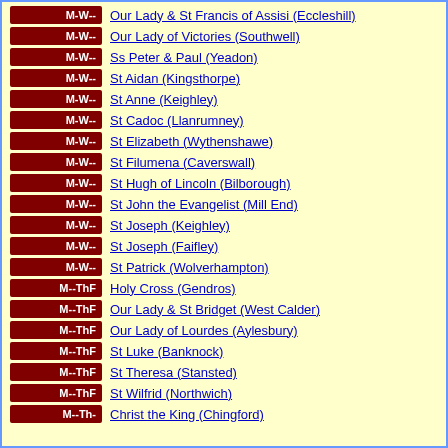M-W-- | Our Lady & St Francis of Assisi (Eccleshill)
M-W-- | Our Lady of Victories (Southwell)
M-W-- | Ss Peter & Paul (Yeadon)
M-W-- | St Aidan (Kingsthorpe)
M-W-- | St Anne (Keighley)
M-W-- | St Cadoc (Llanrumney)
M-W-- | St Elizabeth (Wythenshawe)
M-W-- | St Filumena (Caverswall)
M-W-- | St Hugh of Lincoln (Bilborough)
M-W-- | St John the Evangelist (Mill End)
M-W-- | St Joseph (Keighley)
M-W-- | St Joseph (Faifley)
M-W-- | St Patrick (Wolverhampton)
M--ThF | Holy Cross (Gendros)
M--ThF | Our Lady & St Bridget (West Calder)
M--ThF | Our Lady of Lourdes (Aylesbury)
M--ThF | St Luke (Banknock)
M--ThF | St Theresa (Stansted)
M--ThF | St Wilfrid (Northwich)
M--Th- | Christ the King (Chingford)